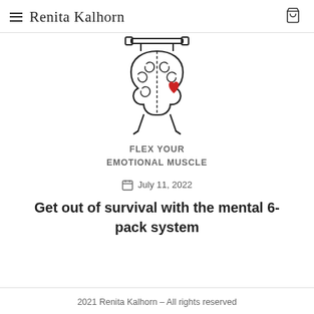≡ Renita Kalhorn
[Figure (illustration): A brain being lifted like a barbell on a gym rack, with a small red heart on the right side, drawn in a cartoon line-art style.]
FLEX YOUR
EMOTIONAL MUSCLE
July 11, 2022
Get out of survival with the mental 6-pack system
2021 Renita Kalhorn – All rights reserved